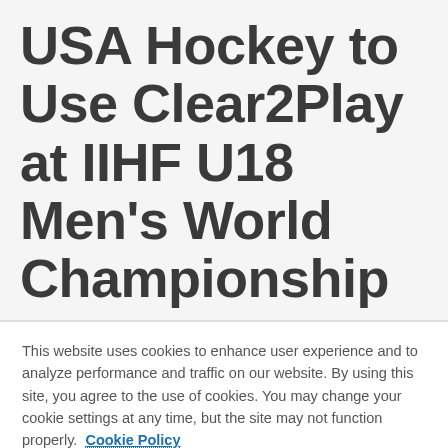USA Hockey to Use Clear2Play at IIHF U18 Men's World Championship
This website uses cookies to enhance user experience and to analyze performance and traffic on our website. By using this site, you agree to the use of cookies. You may change your cookie settings at any time, but the site may not function properly.  Cookie Policy
Close